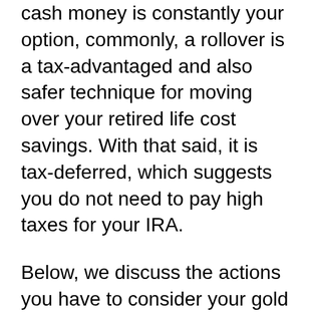cash money is constantly your option, commonly, a rollover is a tax-advantaged and also safer technique for moving over your retired life cost savings. With that said, it is tax-deferred, which suggests you do not need to pay high taxes for your IRA.
Below, we discuss the actions you have to consider your gold individual retirement account rollover.
The first thing you should understand is that you can money your brand-new gold IRA in two ways: a transfer or a rollover. Many people puzzle the procedures, calling them both a rollover. Nevertheless, each option is various. You can learn what sets apart your IRA rollovers from a transfer. Though it is a